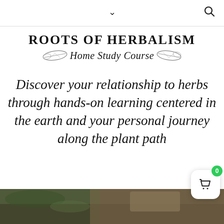chevron down / search
ROOTS OF HERBALISM Home Study Course
Discover your relationship to herbs through hands-on learning centered in the earth and your personal journey along the plant path
[Figure (photo): Partial photo at bottom showing nature/herbs scene with a hat visible]